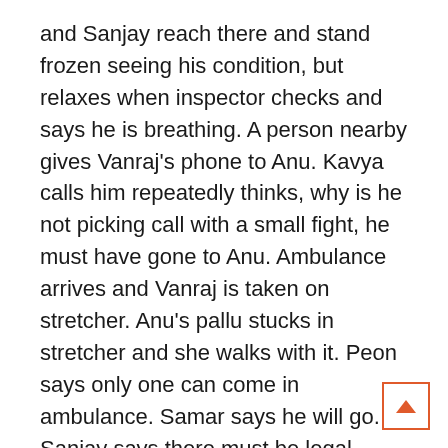and Sanjay reach there and stand frozen seeing his condition, but relaxes when inspector checks and says he is breathing. A person nearby gives Vanraj's phone to Anu. Kavya calls him repeatedly thinks, why is he not picking call with a small fight, he must have gone to Anu. Ambulance arrives and Vanraj is taken on stretcher. Anu's pallu stucks in stretcher and she walks with it. Peon says only one can come in ambulance. Samar says he will go. Sanjay says there must be legal formalities to complete, so he will go along and Samar can come on bike with Anu. Anu gets into ambulance and sits. Inspector asks who are they. Samar says injured person is his papa and sitting inside is his mummy. Ambulance leaves.
Back at home, Pakhi cries profusely reminiscing Vanraj. Baa consoles her and blames Kavya for the accident. Dolly says its not time to curse. Baa says she will go to hospital right now. Dolly says let us wait for Sanjay's call for the update, then they can go to hospital. Baa agrees. Vanraj is taken to hospital and doctors sta his treatment. Anu asks Sanaj if he informed family, how will they